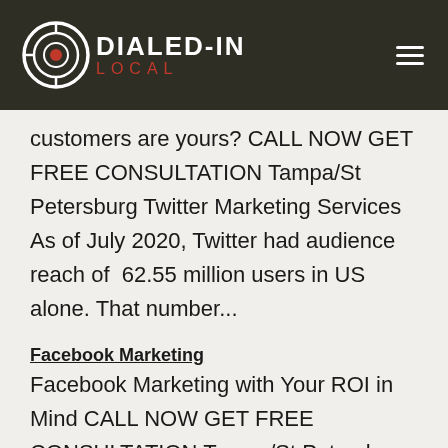DIALED-IN LOCAL
customers are yours? CALL NOW GET FREE CONSULTATION Tampa/St Petersburg Twitter Marketing Services As of July 2020, Twitter had audience reach of  62.55 million users in US alone. That number...
Facebook Marketing
Facebook Marketing with Your ROI in Mind CALL NOW GET FREE CONSULTATION Tampa/St Petersburg Facebook Marketing Services Most